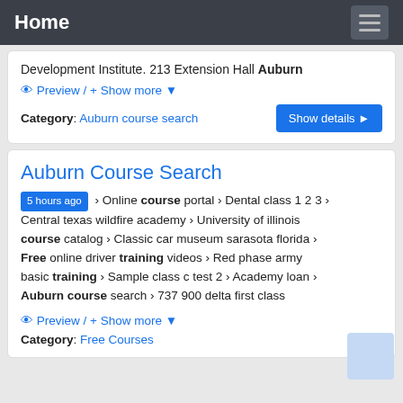Home
Development Institute. 213 Extension Hall Auburn
Preview / + Show more
Category: Auburn course search
Auburn Course Search
5 hours ago › Online course portal › Dental class 1 2 3 › Central texas wildfire academy › University of illinois course catalog › Classic car museum sarasota florida › Free online driver training videos › Red phase army basic training › Sample class c test 2 › Academy loan › Auburn course search › 737 900 delta first class
Preview / + Show more
Category: Free Courses